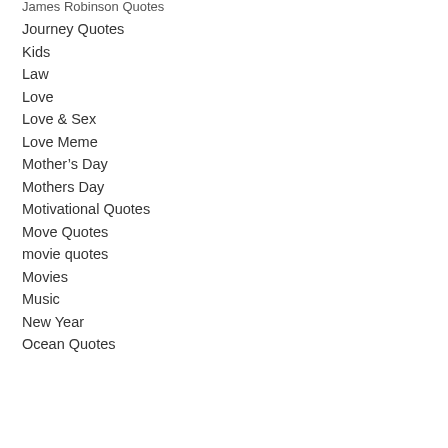James Robinson Quotes
Journey Quotes
Kids
Law
Love
Love & Sex
Love Meme
Mother's Day
Mothers Day
Motivational Quotes
Move Quotes
movie quotes
Movies
Music
New Year
Ocean Quotes